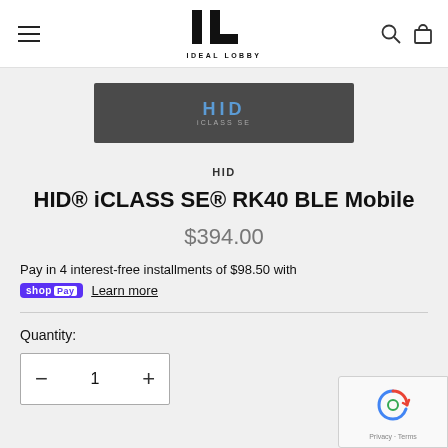IDEAL LOBBY — navigation header
[Figure (logo): HID iCLASS banner image with dark background showing HID logo in blue text]
HID
HID® iCLASS SE® RK40 BLE Mobile
$394.00
Pay in 4 interest-free installments of $98.50 with
shopPay Learn more
Quantity:
[Figure (other): Quantity selector showing minus button, 1, plus button]